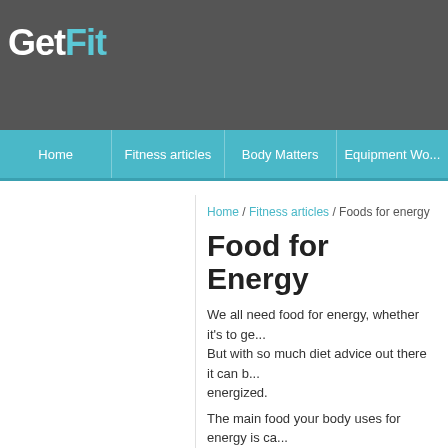GetFit
Home | Fitness articles | Body Matters | Equipment Wo...
Home / Fitness articles / Foods for energy
Food for Energy
We all need food for energy, whether it's to ge... But with so much diet advice out there it can b... energized.
The main food your body uses for energy is ca... days, they are the body – and the brain's – nu... therefore come from carbs.
However, not all carbs are created equal – or, ... processing them. The key difference is betwe... Simple carbohydrates have typically been pro... vitamins and minerals have been taken out of... very quickly by the body. Examples of simple...